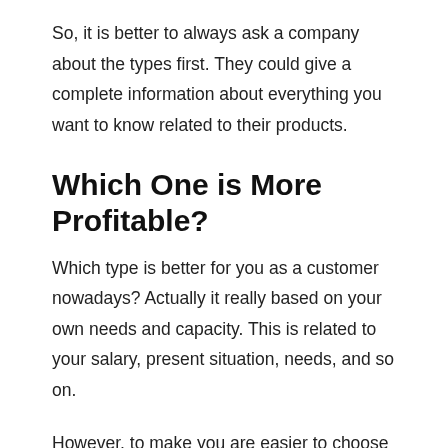So, it is better to always ask a company about the types first. They could give a complete information about everything you want to know related to their products.
Which One is More Profitable?
Which type is better for you as a customer nowadays? Actually it really based on your own needs and capacity. This is related to your salary, present situation, needs, and so on.
However, to make you are easier to choose the right